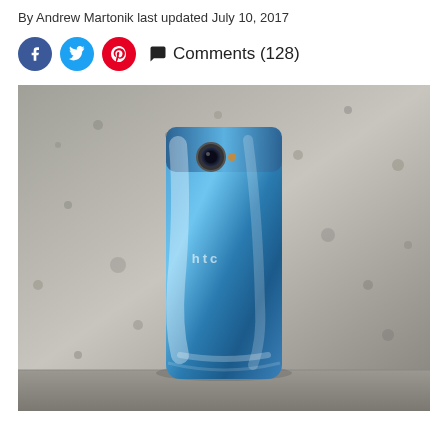By Andrew Martonik last updated July 10, 2017
Comments (128)
[Figure (photo): Back view of an HTC U11 smartphone in blue/sapphire color, leaning against a concrete wall. The phone has a glossy, reflective back with the HTC logo visible and a rear camera lens.]